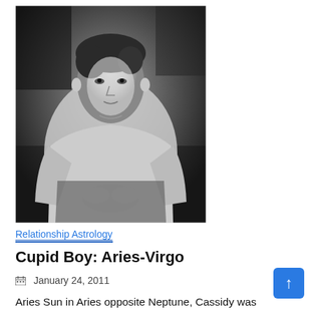[Figure (photo): Black and white portrait photo of a young man with medium-length dark hair, wearing a light-colored long-sleeve sweater, seated with hands clasped together, looking at the camera.]
Relationship Astrology
Cupid Boy: Aries-Virgo
January 24, 2011
Aries Sun in Aries opposite Neptune, Cassidy was